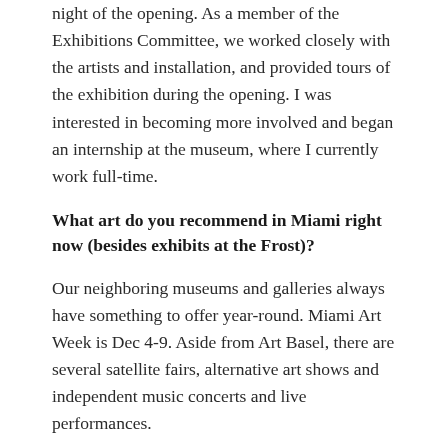night of the opening. As a member of the Exhibitions Committee, we worked closely with the artists and installation, and provided tours of the exhibition during the opening. I was interested in becoming more involved and began an internship at the museum, where I currently work full-time.
What art do you recommend in Miami right now (besides exhibits at the Frost)?
Our neighboring museums and galleries always have something to offer year-round. Miami Art Week is Dec 4-9. Aside from Art Basel, there are several satellite fairs, alternative art shows and independent music concerts and live performances.
What do you wish students knew about the Frost that they don't currently know?
The Patricia & Phillip Frost Art Museum offers free